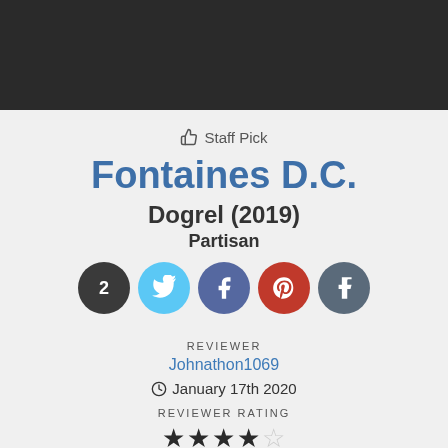[Figure (photo): Dark textured header background image]
👍 Staff Pick
Fontaines D.C.
Dogrel (2019)
Partisan
[Figure (infographic): Social share buttons: 2 shares (dark circle), Twitter (blue), Facebook (dark blue), Pinterest (red), Tumblr (grey)]
REVIEWER
Johnathon1069
January 17th 2020
REVIEWER RATING
[Figure (infographic): 4 out of 5 stars rating]
LOGIN TO RATE